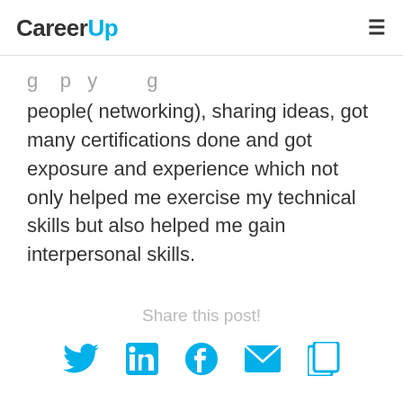CareerUp
...people( networking), sharing ideas, got many certifications done and got exposure and experience which not only helped me exercise my technical skills but also helped me gain interpersonal skills.
Share this post!